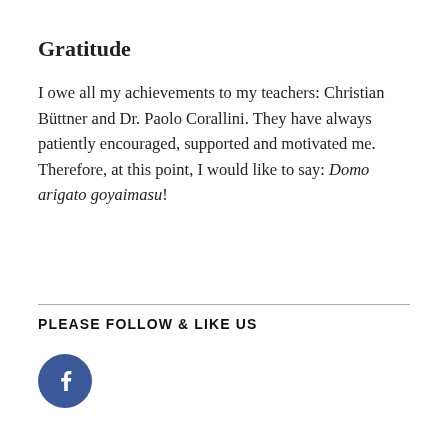Gratitude
I owe all my achievements to my teachers: Christian Büttner and Dr. Paolo Corallini. They have always patiently encouraged, supported and motivated me. Therefore, at this point, I would like to say: Domo arigato goyaimasu!
PLEASE FOLLOW & LIKE US
[Figure (logo): Facebook logo icon — circular dark blue button with white lowercase 'f' letter]